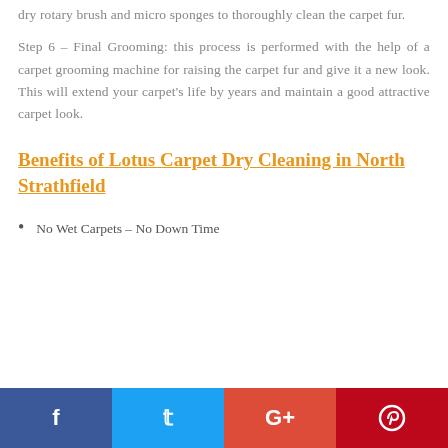dry rotary brush and micro sponges to thoroughly clean the carpet fur.
Step 6 – Final Grooming: this process is performed with the help of a carpet grooming machine for raising the carpet fur and give it a new look. This will extend your carpet's life by years and maintain a good attractive carpet look.
Benefits of Lotus Carpet Dry Cleaning in North Strathfield
No Wet Carpets – No Down Time
[Figure (other): Social sharing bar with Facebook, Twitter, Google+, and Pinterest buttons]